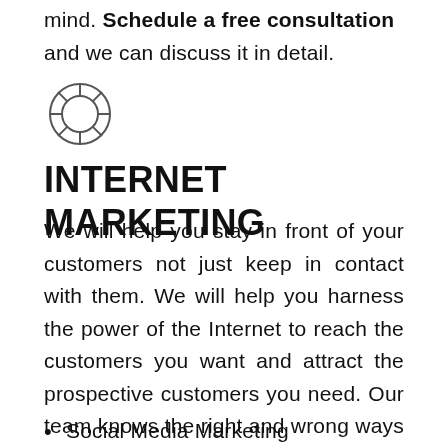mind. Schedule a free consultation and we can discuss it in detail.
[Figure (illustration): Life preserver / lifebuoy ring icon, circular shape with cross segments, drawn in thin strokes]
INTERNET MARKETING
We will help you stay in front of your customers not just keep in contact with them. We will help you harness the power of the Internet to reach the customers you want and attract the prospective customers you need. Our team knows the right and wrong ways to use the available resources such as:
Social Media Marketing